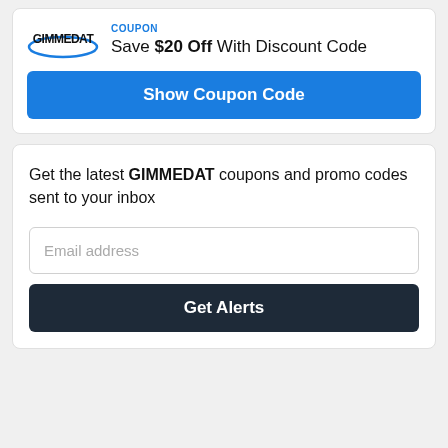COUPON
Save $20 Off With Discount Code
[Figure (logo): GIMMEDAT logo with stylized swoosh]
Show Coupon Code
Get the latest GIMMEDAT coupons and promo codes sent to your inbox
Email address
Get Alerts